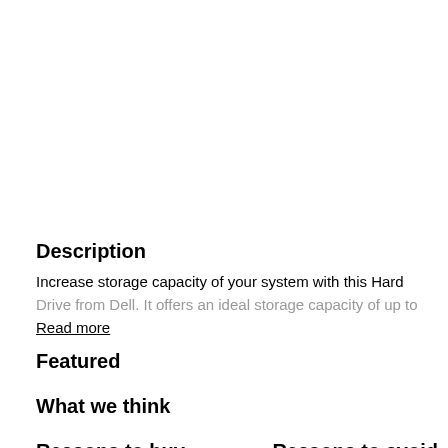Description
Increase storage capacity of your system with this Hard Drive from Dell. It offers an ideal storage capacity of up to
Read more
Featured
What we think
Reasons to buy
Reasons to avoid